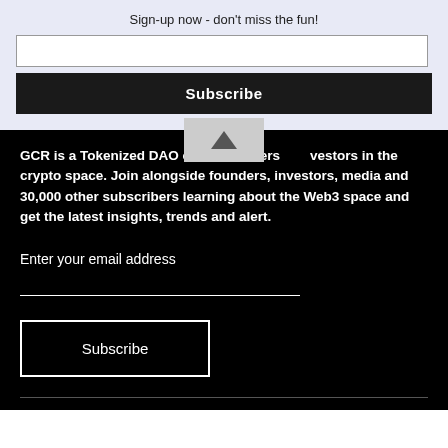Sign-up now - don't miss the fun!
GCR is a Tokenized DAO of Researchers & Investors in the crypto space. Join alongside founders, investors, media and 30,000 other subscribers learning about the Web3 space and get the latest insights, trends and alert.
Enter your email address
Subscribe